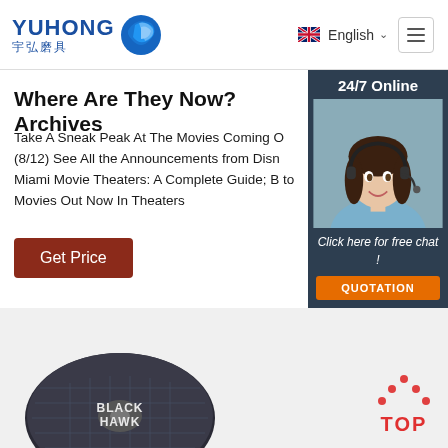YUHONG 宇弘磨具 | English | Menu
Where Are They Now? Archives
Take A Sneak Peak At The Movies Coming O (8/12) See All the Announcements from Disn Miami Movie Theaters: A Complete Guide; B to Movies Out Now In Theaters
Get Price
[Figure (photo): 24/7 Online chat support agent sidebar with woman wearing headset, button: Click here for free chat! QUOTATION]
[Figure (photo): Black Hawk circular grinding disc at bottom of page]
[Figure (illustration): TOP button with orange dots arranged above the text TOP in red]